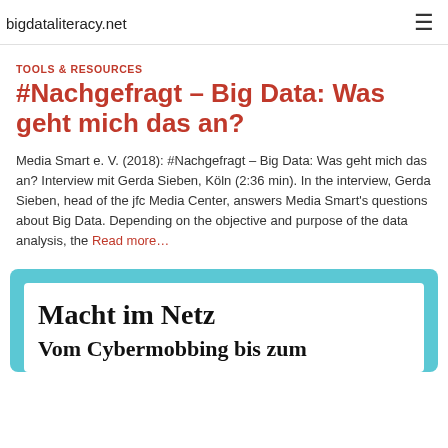bigdataliteracy.net
TOOLS & RESOURCES
#Nachgefragt – Big Data: Was geht mich das an?
Media Smart e. V. (2018): #Nachgefragt – Big Data: Was geht mich das an? Interview mit Gerda Sieben, Köln (2:36 min). In the interview, Gerda Sieben, head of the jfc Media Center, answers Media Smart's questions about Big Data. Depending on the objective and purpose of the data analysis, the Read more…
[Figure (illustration): Book or publication cover card showing 'Macht im Netz – Vom Cybermobbing bis zum...' with white inner card on light blue background]